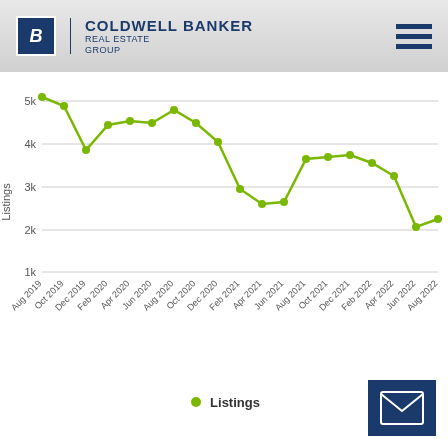[Figure (logo): Coldwell Banker Real Estate Group logo with hamburger menu icon]
[Figure (line-chart): Listings over time]
Listings